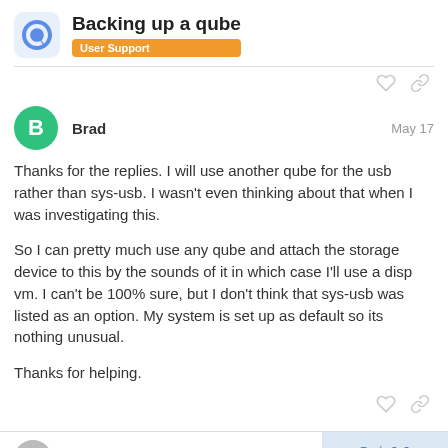Backing up a qube — User Support
Thanks for the replies. I will use another qube for the usb rather than sys-usb. I wasn't even thinking about that when I was investigating this.

So I can pretty much use any qube and attach the storage device to this by the sounds of it in which case I'll use a disp vm. I can't be 100% sure, but I don't think that sys-usb was listed as an option. My system is set up as default so its nothing unusual.

Thanks for helping.
enmus
2 / 11